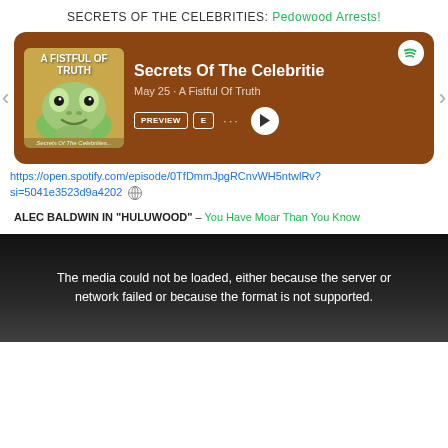SECRETS OF THE CELEBRITIES: Pedowood Arrests!
[Figure (screenshot): Spotify podcast card for 'Secrets Of The Celebrities' episode from 'A Fistful Of Truth' podcast, dated May 25. Shows album art with Pepe the Frog cartoon and 'A FISTFUL OF TRUTH' text on brown background. Has PREVIEW and E buttons, dots menu, play button, and Spotify logo.]
https://open.spotify.com/episode/0TfDmmJpgRCnvWH5ntwlRv?si=5041e3523d9a4202
ALEC BALDWIN IN “HULUWOOD” – You Have Moar Than You Know
[Figure (screenshot): Video player with dark background showing 'The media could not be loaded, either because the server or network failed or because the format is not supported.']